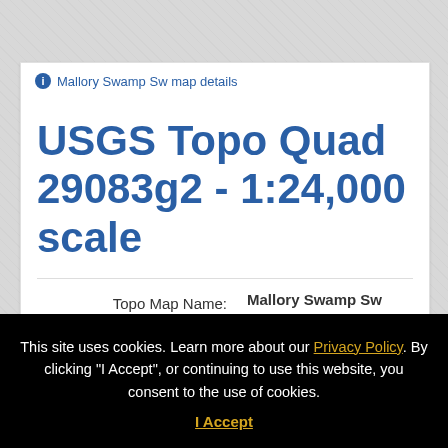ℹ Mallory Swamp Sw map details
USGS Topo Quad 29083g2 - 1:24,000 scale
| Field | Value |
| --- | --- |
| Topo Map Name: | Mallory Swamp Sw |
| USGS Topo Quad ID: | 29083g2 |
This site uses cookies. Learn more about our Privacy Policy. By clicking "I Accept", or continuing to use this website, you consent to the use of cookies.
I Accept